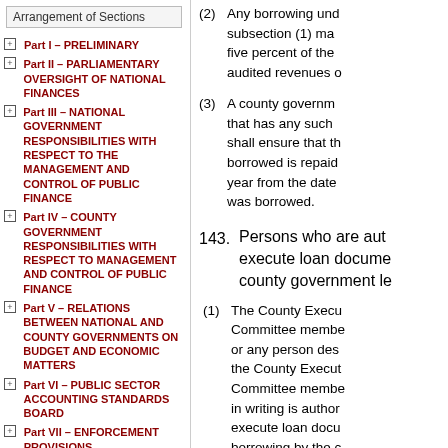Arrangement of Sections
Part I – PRELIMINARY
Part II – PARLIAMENTARY OVERSIGHT OF NATIONAL FINANCES
Part III – NATIONAL GOVERNMENT RESPONSIBILITIES WITH RESPECT TO THE MANAGEMENT AND CONTROL OF PUBLIC FINANCE
Part IV – COUNTY GOVERNMENT RESPONSIBILITIES WITH RESPECT TO MANAGEMENT AND CONTROL OF PUBLIC FINANCE
Part V – RELATIONS BETWEEN NATIONAL AND COUNTY GOVERNMENTS ON BUDGET AND ECONOMIC MATTERS
Part VI – PUBLIC SECTOR ACCOUNTING STANDARDS BOARD
Part VII – ENFORCEMENT PROVISIONS
(2) Any borrowing under subsection (1) may five percent of the audited revenues o
(3) A county governm that has any such shall ensure that th borrowed is repaid year from the date was borrowed.
143. Persons who are aut execute loan docume county government le
(1) The County Execu Committee membe or any person des the County Execut Committee membe in writing is author execute loan docu borrowing by the c government.